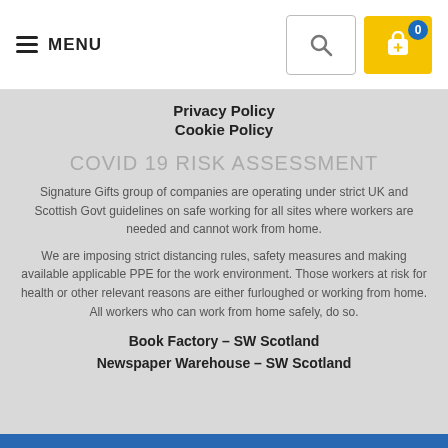≡ MENU
Privacy Policy
Cookie Policy
COVID 19 RISK ASSESSMENT
Signature Gifts group of companies are operating under strict UK and Scottish Govt guidelines on safe working for all sites where workers are needed and cannot work from home.
We are imposing strict distancing rules, safety measures and making available applicable PPE for the work environment. Those workers at risk for health or other relevant reasons are either furloughed or working from home. All workers who can work from home safely, do so.
Book Factory – SW Scotland
Newspaper Warehouse – SW Scotland